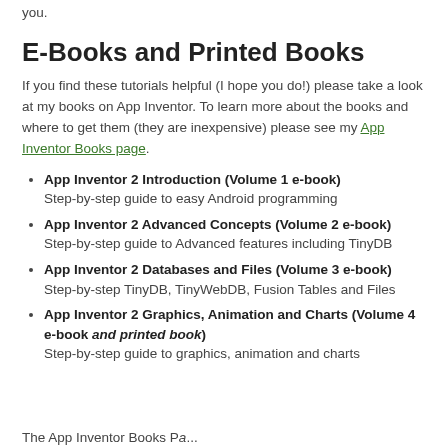you.
E-Books and Printed Books
If you find these tutorials helpful (I hope you do!) please take a look at my books on App Inventor. To learn more about the books and where to get them (they are inexpensive) please see my App Inventor Books page.
App Inventor 2 Introduction (Volume 1 e-book) — Step-by-step guide to easy Android programming
App Inventor 2 Advanced Concepts (Volume 2 e-book) — Step-by-step guide to Advanced features including TinyDB
App Inventor 2 Databases and Files (Volume 3 e-book) — Step-by-step TinyDB, TinyWebDB, Fusion Tables and Files
App Inventor 2 Graphics, Animation and Charts (Volume 4 e-book and printed book) — Step-by-step guide to graphics, animation and charts
The App Inventor Books Page...